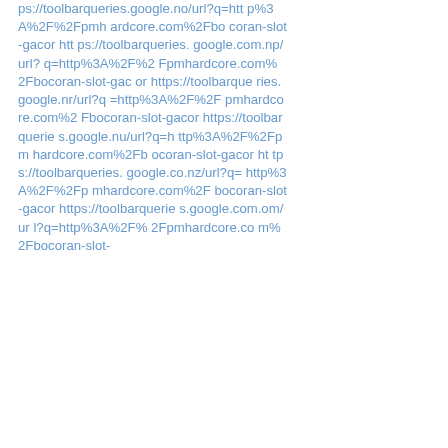ps://toolbarqueries.google.no/url?q=http%3A%2F%2Fpmhardcore.com%2Fbocoran-slot-gacor https://toolbarqueries.google.com.np/url?q=http%3A%2F%2Fpmhardcore.com%2Fbocoran-slot-gacor https://toolbarqueries.google.nr/url?q=http%3A%2F%2Fpmhardcore.com%2Fbocoran-slot-gacor https://toolbarqueries.google.nu/url?q=http%3A%2F%2Fpmhardcore.com%2Fbocoran-slot-gacor https://toolbarqueries.google.co.nz/url?q=http%3A%2F%2Fpmhardcore.com%2Fbocoran-slot-gacor https://toolbarqueries.google.com.om/url?q=http%3A%2F%2Fpmhardcore.com%2Fbocoran-slot-